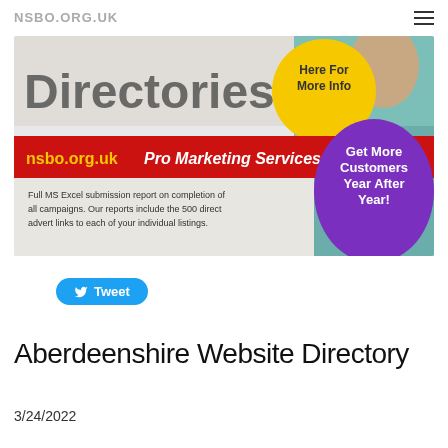NSBO.ORG.UK
[Figure (illustration): Advertisement banner for nsbo.org.uk Pro Marketing Services showing 'Directories' text, 'Here For More Info' yellow circle, 'Get More Customers Year After Year!' purple oval, red banner with 'nsbo.org.uk Pro Marketing Services', and text about MS Excel submission reports.]
Tweet
Aberdeenshire Website Directory
3/24/2022